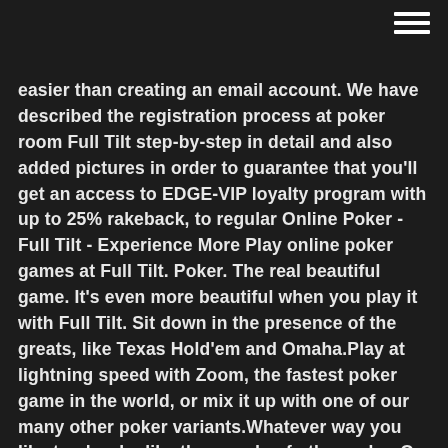easier than creating an email account. We have described the registration process at poker room Full Tilt step-by-step in detail and also added pictures in order to guarantee that you'll get an access to EDGE-VIP loyalty program with up to 25% rakeback, to regular Online Poker - Full Tilt - Experience More Play online poker games at Full Tilt. Poker. The real beautiful game. It's even more beautiful when you play it with Full Tilt. Sit down in the presence of the greats, like Texas Hold'em and Omaha.Play at lightning speed with Zoom, the fastest poker game in the world, or mix it up with one of our many other poker variants.Whatever way you like to play, be like thousands of other poker Our Online Poker Software Terms of Service - Full Tilt Poker 1. GRANT OF LICENSE/INTELLECTUAL